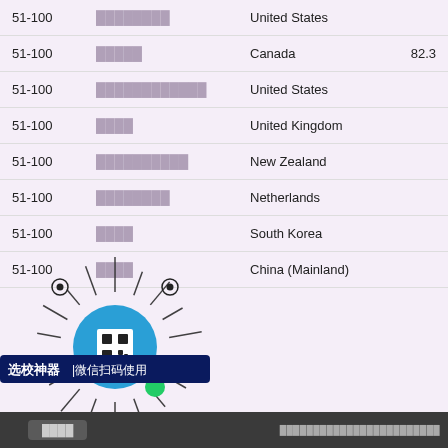| Rank | Name | Country | Score |
| --- | --- | --- | --- |
| 51-100 | ████████ | United States |  |
| 51-100 | █████ | Canada | 82.3 |
| 51-100 | ████████████ | United States |  |
| 51-100 | ████ | United Kingdom |  |
| 51-100 | ██████████ | New Zealand |  |
| 51-100 | ████████ | Netherlands |  |
| 51-100 | ████ | South Korea |  |
| 51-100 | ████ | China (Mainland) |  |
[Figure (other): WeChat QR code watermark with text '选校神器|微信扫码使用']
████  ████████████████████████